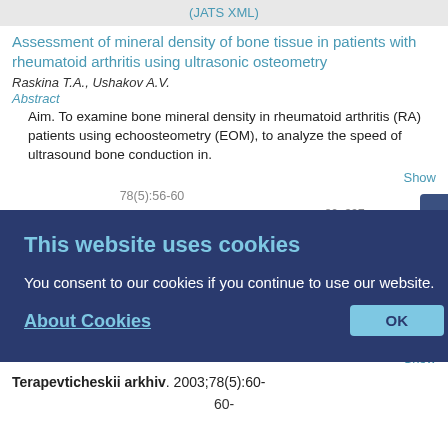(JATS XML)
Assessment of mineral density of bone tissue in patients with rheumatoid arthritis using ultrasonic osteometry
Raskina T.A., Ushakov A.V.
Abstract
Aim. To examine bone mineral density in rheumatoid arthritis (RA) patients using echoosteometry (EOM), to analyze the speed of ultrasound bone conduction in.
Show
(JATS XML)
of gouty arthritis
Barskova V.G., Yakunin... nova V.A.
Abstract
Aim. To evaluate efficacy and safety ofnimesil, a selective inhibitor of cyclooxigenase-2, in gouty arthritis (GA). Material and methods. Nimesil was given to 20
Show
Terapevticheskii arkhiv. 2003;78(5):60-
60-
This website uses cookies
You consent to our cookies if you continue to use our website.
About Cookies
OK